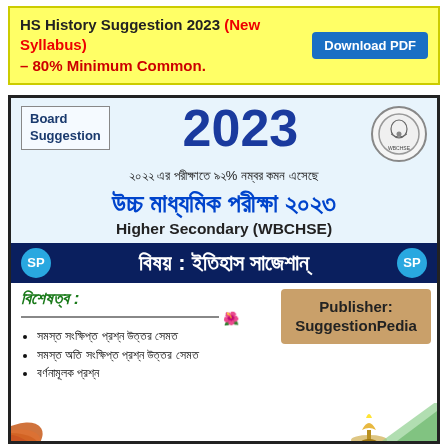HS History Suggestion 2023 (New Syllabus) – 80% Minimum Common. Download PDF
[Figure (illustration): Educational book cover / suggestion paper card for Higher Secondary WBCHSE 2023 History subject by SuggestionPedia, with Bengali text, Board Suggestion label, year 2023, subject bar, bullet points, and publisher box.]